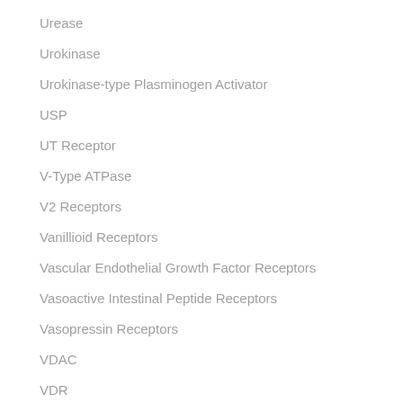Urease
Urokinase
Urokinase-type Plasminogen Activator
USP
UT Receptor
V-Type ATPase
V2 Receptors
Vanillioid Receptors
Vascular Endothelial Growth Factor Receptors
Vasoactive Intestinal Peptide Receptors
Vasopressin Receptors
VDAC
VDR
VEGFR